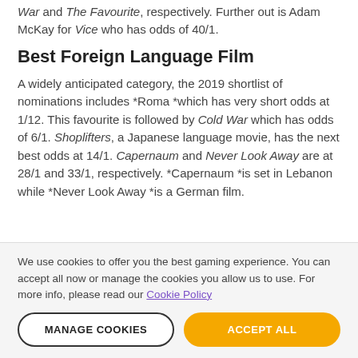War and The Favourite, respectively. Further out is Adam McKay for Vice who has odds of 40/1.
Best Foreign Language Film
A widely anticipated category, the 2019 shortlist of nominations includes *Roma *which has very short odds at 1/12. This favourite is followed by Cold War which has odds of 6/1. Shoplifters, a Japanese language movie, has the next best odds at 14/1. Capernaum and Never Look Away are at 28/1 and 33/1, respectively. *Capernaum *is set in Lebanon while *Never Look Away *is a German film.
We use cookies to offer you the best gaming experience. You can accept all now or manage the cookies you allow us to use. For more info, please read our Cookie Policy
MANAGE COOKIES
ACCEPT ALL